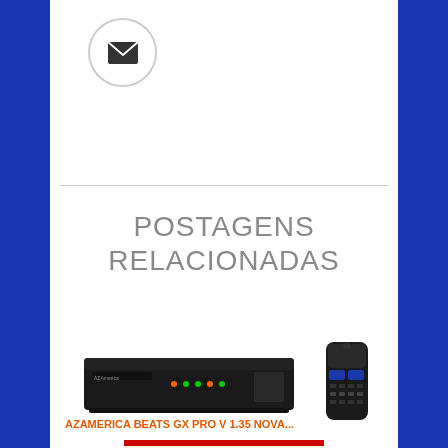[Figure (illustration): Email envelope icon inside a circular border button]
POSTAGENS RELACIONADAS
[Figure (photo): Black set-top box receiver (AZAmerica Beats GX Pro) with remote control]
AZAMERICA BEATS GX PRO V 1.35 NOVA...
[Figure (illustration): Champions Super GX product launch image with text in Portuguese]